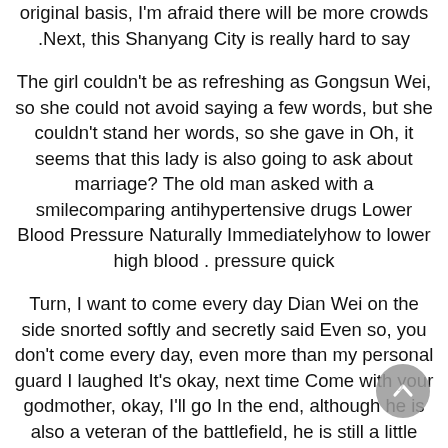original basis, I'm afraid there will be more crowds .Next, this Shanyang City is really hard to say
The girl couldn't be as refreshing as Gongsun Wei, so she could not avoid saying a few words, but she couldn't stand her words, so she gave in Oh, it seems that this lady is also going to ask about marriage? The old man asked with a smilecomparing antihypertensive drugs Lower Blood Pressure Naturally Immediatelyhow to lower high blood . pressure quick
Turn, I want to come every day Dian Wei on the side snorted softly and secretly said Even so, you don't come every day, even more than my personal guard I laughed It's okay, next time Come with your godmother, okay, I'll go In the end, although he is also a veteran of the battlefield, he is still a little uneasy